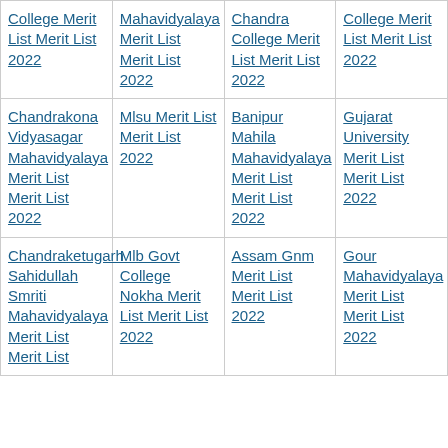| College Merit List Merit List 2022 | Mahavidyalaya Merit List Merit List 2022 | Chandra College Merit List Merit List 2022 | College Merit List Merit List 2022 |
| Chandrakona Vidyasagar Mahavidyalaya Merit List Merit List 2022 | Mlsu Merit List Merit List 2022 | Banipur Mahila Mahavidyalaya Merit List Merit List 2022 | Gujarat University Merit List Merit List 2022 |
| Chandraketugarh Sahidullah Smriti Mahavidyalaya Merit List Merit List... | Mlb Govt College Nokha Merit List Merit List 2022 | Assam Gnm Merit List Merit List 2022 | Gour Mahavidyalaya Merit List Merit List 2022 |